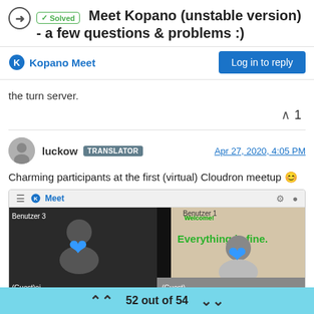Meet Kopano (unstable version) - a few questions & problems :)
Kopano Meet
the turn server.
luckow TRANSLATOR Apr 27, 2020, 4:05 PM
Charming participants at the first (virtual) Cloudron meetup 🙂
[Figure (screenshot): Screenshot of Kopano Meet video conference with participants (faces obscured with blue hearts). Shows Benutzer 3, Benutzer 1 with 'Everything is fine.' sign, (Guest)oj, and another guest.]
52 out of 54